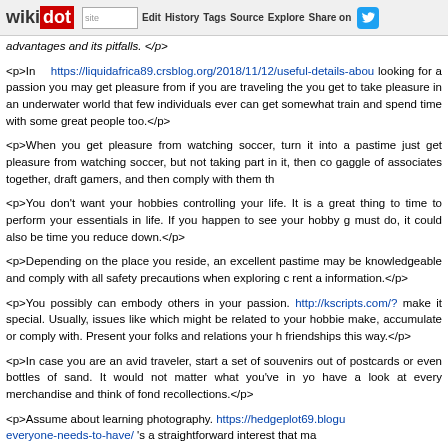wikidot | site | Edit | History | Tags | Source | Explore | Share on [Twitter]
advantages and its pitfalls. </p>
<p>In   https://liquidafrica89.crsblog.org/2018/11/12/useful-details-abou looking for a passion you may get pleasure from if you are traveling the you get to take pleasure in an underwater world that few individuals ever can get somewhat train and spend time with some great people too.</p>
<p>When you get pleasure from watching soccer, turn it into a pastime just get pleasure from watching soccer, but not taking part in it, then co gaggle of associates together, draft gamers, and then comply with them th
<p>You don't want your hobbies controlling your life. It is a great thing to time to perform your essentials in life. If you happen to see your hobby g must do, it could also be time you reduce down.</p>
<p>Depending on the place you reside, an excellent pastime may be knowledgeable and comply with all safety precautions when exploring c rent a information.</p>
<p>You possibly can embody others in your passion. http://kscripts.com/? make it special. Usually, issues like which might be related to your hobbie make, accumulate or comply with. Present your folks and relations your h friendships this way.</p>
<p>In case you are an avid traveler, start a set of souvenirs out of postcards or even bottles of sand. It would not matter what you've in yo have a look at every merchandise and think of fond recollections.</p>
<p>Assume about learning photography. https://hedgeplot69.blogu everyone-needs-to-have/ 's a straightforward interest that ma